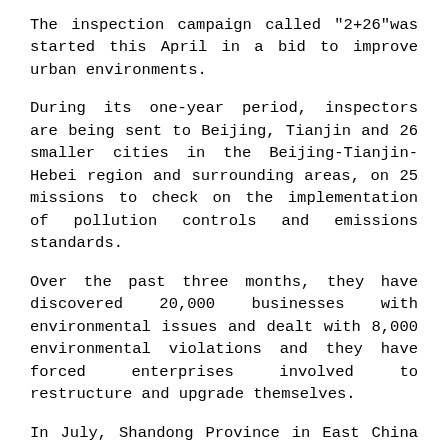The inspection campaign called "2+26"was started this April in a bid to improve urban environments.
During its one-year period, inspectors are being sent to Beijing, Tianjin and 26 smaller cities in the Beijing-Tianjin-Hebei region and surrounding areas, on 25 missions to check on the implementation of pollution controls and emissions standards.
Over the past three months, they have discovered 20,000 businesses with environmental issues and dealt with 8,000 environmental violations and they have forced enterprises involved to restructure and upgrade themselves.
In July, Shandong Province in East China shut down Jinan Steel, which had an annual output of 12 million tons, to turn to service industries and modern logistic development and, its city of Jinan relocated 54 enterprises and removed 323 boilers from its old industrial zone.
Data from the first half of this year showed the GDP of Jinan stood at 341.74 billion yuan ($52 billion), up 8.3 percent from last year. In the first 8 months, the city's fixed-asset